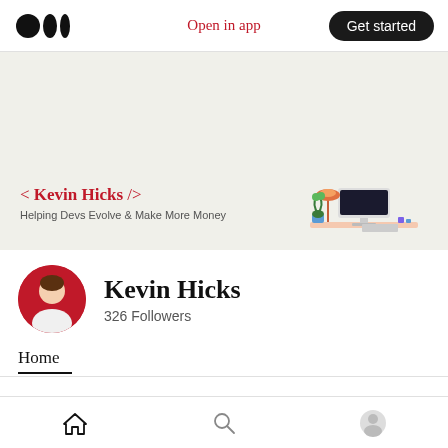Open in app  Get started
[Figure (illustration): Medium logo (three circles) top left]
[Figure (illustration): Blog banner header area with desk illustration: monitor, keyboard, lamp, plant on a desk]
< Kevin Hicks /> Helping Devs Evolve & Make More Money
Kevin Hicks
326 Followers
Home
Published in New Writers Welcome · Pinned ✦
Home  Search  Profile